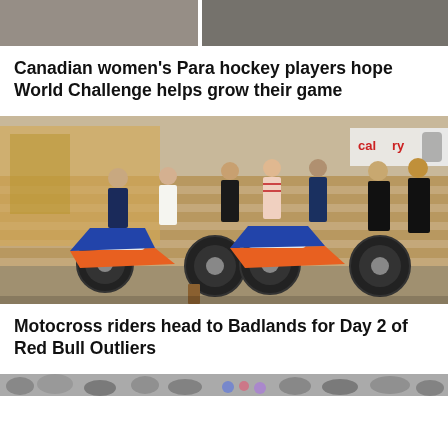[Figure (photo): Top partial image showing two side-by-side photo thumbnails, cropped at the top of the page]
Canadian women's Para hockey players hope World Challenge helps grow their game
[Figure (photo): Outdoor scene with several motocross/dirt bikes parked in front of people standing on steps, with a Calgary banner in the background]
Motocross riders head to Badlands for Day 2 of Red Bull Outliers
[Figure (photo): Partial image at the bottom of the page, rocky/pebbly ground with some colorful objects]